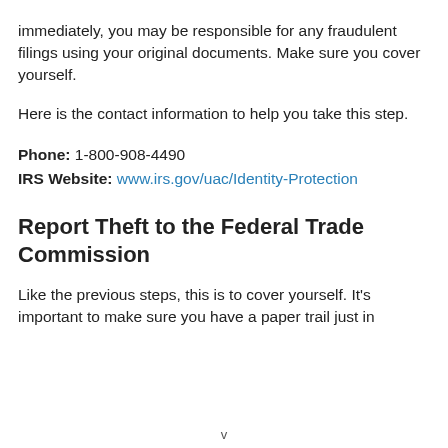immediately, you may be responsible for any fraudulent filings using your original documents. Make sure you cover yourself.
Here is the contact information to help you take this step.
Phone: 1-800-908-4490
IRS Website: www.irs.gov/uac/Identity-Protection
Report Theft to the Federal Trade Commission
Like the previous steps, this is to cover yourself. It's important to make sure you have a paper trail just in